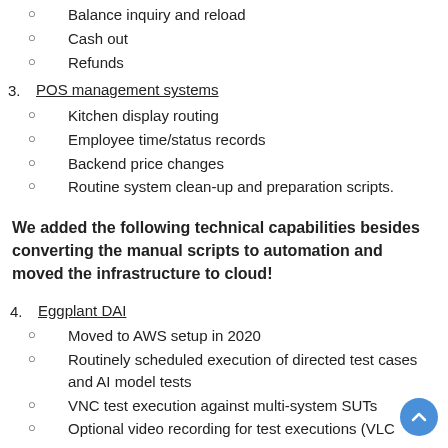Balance inquiry and reload
Cash out
Refunds
3. POS management systems
Kitchen display routing
Employee time/status records
Backend price changes
Routine system clean-up and preparation scripts.
We added the following technical capabilities besides converting the manual scripts to automation and moved the infrastructure to cloud!
4. Eggplant DAI
Moved to AWS setup in 2020
Routinely scheduled execution of directed test cases and AI model tests
VNC test execution against multi-system SUTs
Optional video recording for test executions (VLC